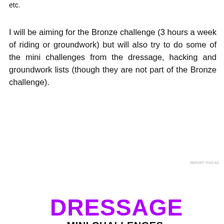etc.
I will be aiming for the Bronze challenge (3 hours a week of riding or groundwork) but will also try to do some of the mini challenges from the dressage, hacking and groundwork lists (though they are not part of the Bronze challenge).
[Figure (screenshot): An advertisement for launching an online course with WordPress. Dark background with a bonsai tree icon, green text reading 'Launch your online course with WordPress', and a white-bordered 'Learn More' button. Below is 'REPORT THIS AD' in small text.]
[Figure (infographic): Dressage Mini Challenges graphic. Purple text 'DRESSAGE' in bold handwritten style, with 'MINI CHALLENGES' below in black bold uppercase. Below are list items including 'Enter a dressage competition' and 'ride a 20m circle' highlighted in blue, followed by 'ride a shoulder in down the long side', 'Ride a collected trot circle', 'have a dressage lesson'.]